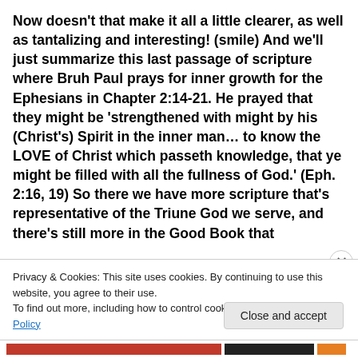Now doesn't that make it all a little clearer, as well as tantalizing and interesting! (smile) And we'll just summarize this last passage of scripture where Bruh Paul prays for inner growth for the Ephesians in Chapter 2:14-21. He prayed that they might be 'strengthened with might by his (Christ's) Spirit in the inner man… to know the LOVE of Christ which passeth knowledge, that ye might be filled with all the fullness of God.' (Eph. 2:16, 19) So there we have more scripture that's representative of the Triune God we serve, and there's still more in the Good Book that
Privacy & Cookies: This site uses cookies. By continuing to use this website, you agree to their use.
To find out more, including how to control cookies, see here: Cookie Policy
Close and accept